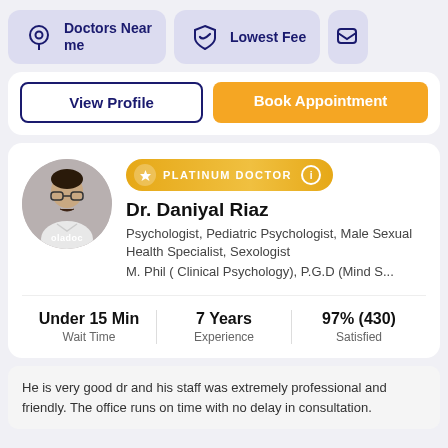[Figure (screenshot): Navigation bar with 'Doctors Near me' (location icon), 'Lowest Fee' (shield icon), and a partial third icon on the right, all with lavender/purple background tiles]
[Figure (infographic): Two action buttons: 'View Profile' (outlined, dark blue) and 'Book Appointment' (filled, orange)]
[Figure (infographic): Doctor profile card for Dr. Daniyal Riaz with photo, platinum doctor badge, specialty info, stats (Under 15 Min wait, 7 Years experience, 97% (430) satisfied), and a review excerpt]
He is very good dr and his staff was extremely professional and friendly. The office runs on time with no delay in consultation.